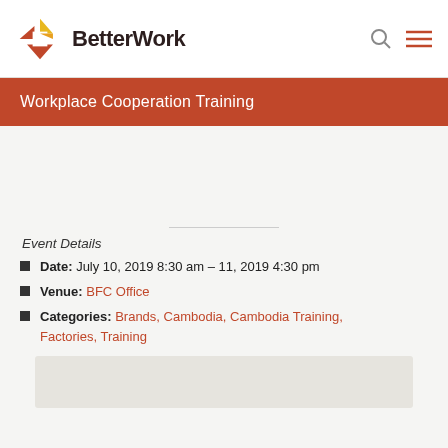BetterWork
Workplace Cooperation Training
Event Details
Date: July 10, 2019 8:30 am – 11, 2019 4:30 pm
Venue: BFC Office
Categories: Brands, Cambodia, Cambodia Training, Factories, Training
[Figure (map): Map area placeholder at bottom of page]